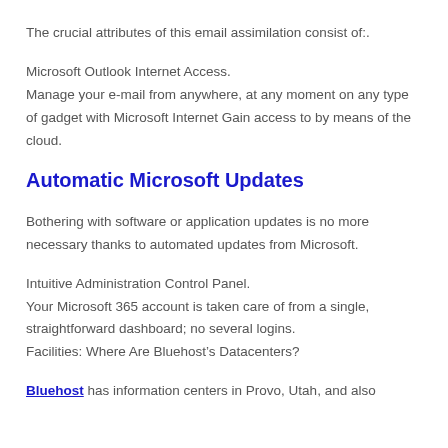The crucial attributes of this email assimilation consist of:.
Microsoft Outlook Internet Access.
Manage your e-mail from anywhere, at any moment on any type of gadget with Microsoft Internet Gain access to by means of the cloud.
Automatic Microsoft Updates
Bothering with software or application updates is no more necessary thanks to automated updates from Microsoft.
Intuitive Administration Control Panel.
Your Microsoft 365 account is taken care of from a single, straightforward dashboard; no several logins.
Facilities: Where Are Bluehost’s Datacenters?
Bluehost has information centers in Provo, Utah, and also